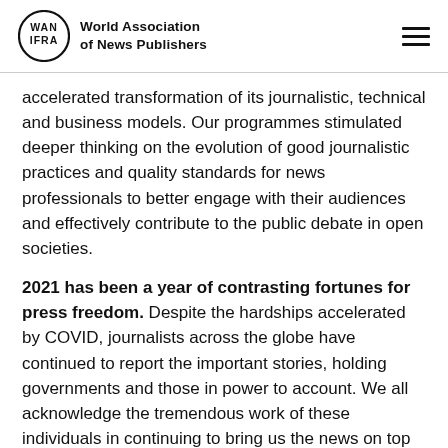World Association of News Publishers
accelerated transformation of its journalistic, technical and business models. Our programmes stimulated deeper thinking on the evolution of good journalistic practices and quality standards for news professionals to better engage with their audiences and effectively contribute to the public debate in open societies.
2021 has been a year of contrasting fortunes for press freedom. Despite the hardships accelerated by COVID, journalists across the globe have continued to report the important stories, holding governments and those in power to account. We all acknowledge the tremendous work of these individuals in continuing to bring us the news on top of navigating the difficulties of the